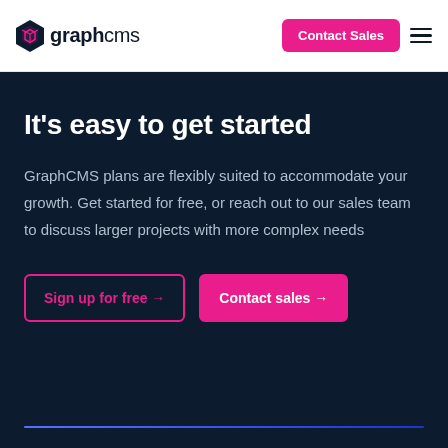graphcms — Contact Sales
It's easy to get started
GraphCMS plans are flexibly suited to accommodate your growth. Get started for free, or reach out to our sales team to discuss larger projects with more complex needs
Sign up for free → | Contact sales →